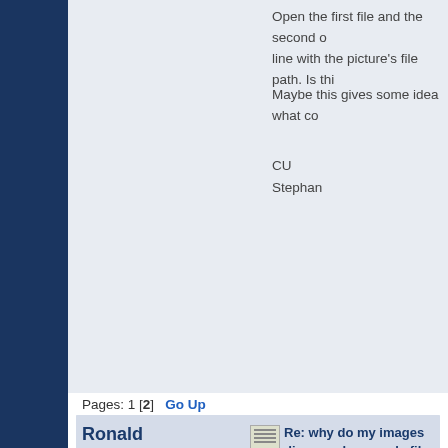Open the first file and the second o... line with the picture's file path. Is thi...
Maybe this gives some idea what co...
CU
Stephan
Ronald
Newbie
Posts: 15
Karma: 0
Scribus User
Re: why do my images disap... why are .sla files so small? (... maybe?)
« Reply #18 on: December 09, 2021, 09:4...
I'm an absolute Scribus beginner. I'v... similar issue with images not appear... "image frame" is also not appearing... realising it. How come the cross in t... my issue of images not appearing?
Pages: 1 [2]   Go Up